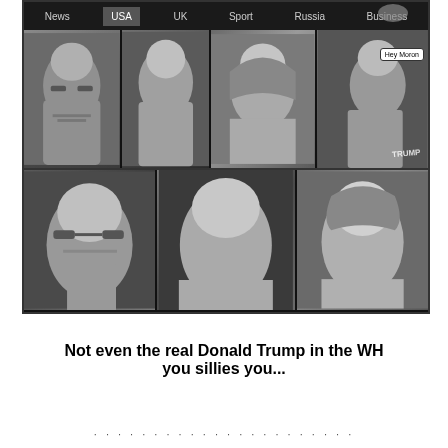[Figure (screenshot): Screenshot of a news website with navigation bar showing News, USA (active), UK, Sport, Russia, Business tabs, and a grid of 7 black-and-white photos of faces including what appears to be Donald Trump and several other people. One photo has a speech bubble reading 'Hey Moron' and a person wearing a 'TRUMP' t-shirt.]
Not even the real Donald Trump in the WH you sillies you...